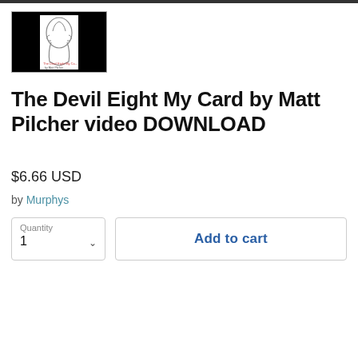[Figure (photo): Product thumbnail image showing a human head silhouette illustration with text, on black background, with a border]
The Devil Eight My Card by Matt Pilcher video DOWNLOAD
$6.66 USD
by Murphys
Quantity 1
Add to cart